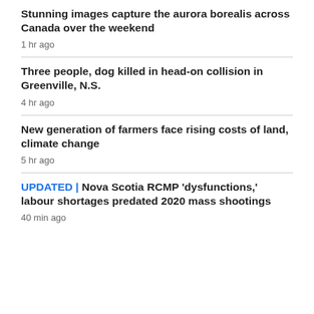Stunning images capture the aurora borealis across Canada over the weekend
1 hr ago
Three people, dog killed in head-on collision in Greenville, N.S.
4 hr ago
New generation of farmers face rising costs of land, climate change
5 hr ago
UPDATED | Nova Scotia RCMP 'dysfunctions,' labour shortages predated 2020 mass shootings
40 min ago